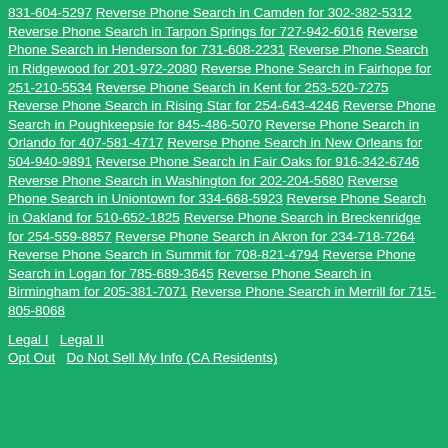831-604-5297 Reverse Phone Search in Camden for 302-382-5312 Reverse Phone Search in Tarpon Springs for 727-942-6016 Reverse Phone Search in Henderson for 731-608-2231 Reverse Phone Search in Ridgewood for 201-972-2080 Reverse Phone Search in Fairhope for 251-210-5534 Reverse Phone Search in Kent for 253-520-7275 Reverse Phone Search in Rising Star for 254-643-4246 Reverse Phone Search in Poughkeepsie for 845-486-5070 Reverse Phone Search in Orlando for 407-581-4717 Reverse Phone Search in New Orleans for 504-940-9891 Reverse Phone Search in Fair Oaks for 916-342-6746 Reverse Phone Search in Washington for 202-204-5680 Reverse Phone Search in Uniontown for 334-668-5923 Reverse Phone Search in Oakland for 510-652-1825 Reverse Phone Search in Breckenridge for 254-559-8857 Reverse Phone Search in Akron for 234-718-7264 Reverse Phone Search in Summit for 708-821-4794 Reverse Phone Search in Logan for 785-689-3645 Reverse Phone Search in Birmingham for 205-381-7071 Reverse Phone Search in Merrill for 715-805-8068
Legal I   Legal II
Opt Out   Do Not Sell My Info (CA Residents)